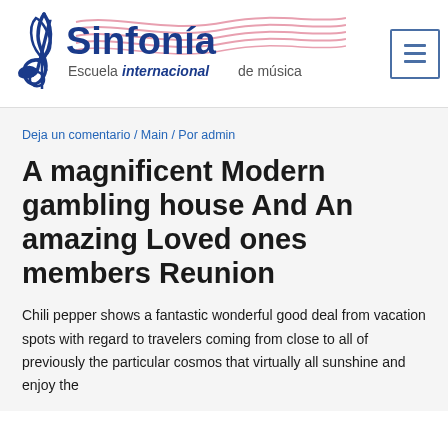[Figure (logo): Sinfonía Escuela internacional de música logo with treble clef and musical staff wave]
Sinfonía Escuela internacional de música
Deja un comentario / Main / Por admin
A magnificent Modern gambling house And An amazing Loved ones members Reunion
Chili pepper shows a fantastic wonderful good deal from vacation spots with regard to travelers coming from close to all of previously the particular cosmos that virtually all sunshine and enjoy the